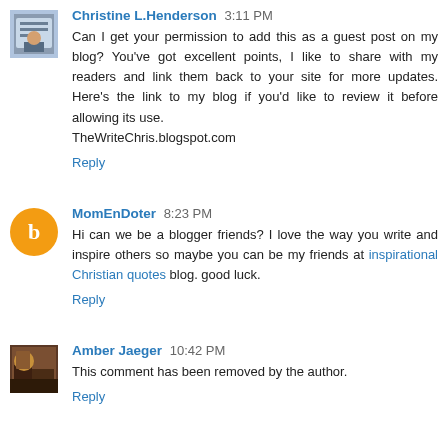Christine L.Henderson 3:11 PM
Can I get your permission to add this as a guest post on my blog? You've got excellent points, I like to share with my readers and link them back to your site for more updates. Here's the link to my blog if you'd like to review it before allowing its use.
TheWriteChris.blogspot.com
Reply
MomEnDoter 8:23 PM
Hi can we be a blogger friends? I love the way you write and inspire others so maybe you can be my friends at inspirational Christian quotes blog. good luck.
Reply
Amber Jaeger 10:42 PM
This comment has been removed by the author.
Reply